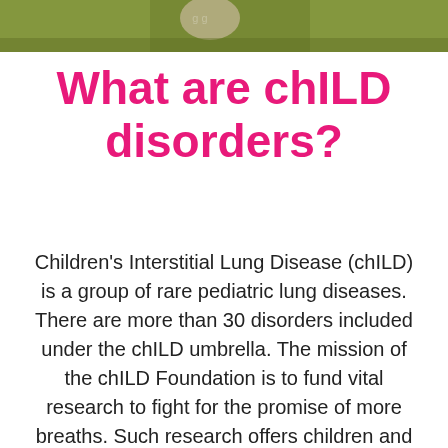[Figure (photo): Partial photo strip at top of page showing a child outdoors, cropped to a narrow horizontal band]
What are chILD disorders?
Children’s Interstitial Lung Disease (chILD) is a group of rare pediatric lung diseases. There are more than 30 disorders included under the chILD umbrella. The mission of the chILD Foundation is to fund vital research to fight for the promise of more breaths. Such research offers children and their families hope, better treatments and, ultimately, a cure. chILD disorders are true “orphan” diseases, with less than